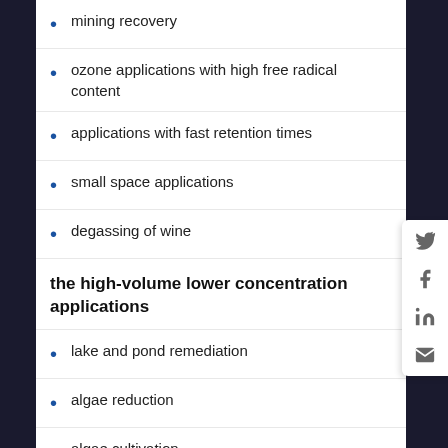mining recovery
ozone applications with high free radical content
applications with fast retention times
small space applications
degassing of wine
the high-volume lower concentration applications
lake and pond remediation
algae reduction
algae cultivation
wastewater applications
swimming pools oxygenation to reduce chloride usage
agriculture and greenhouse